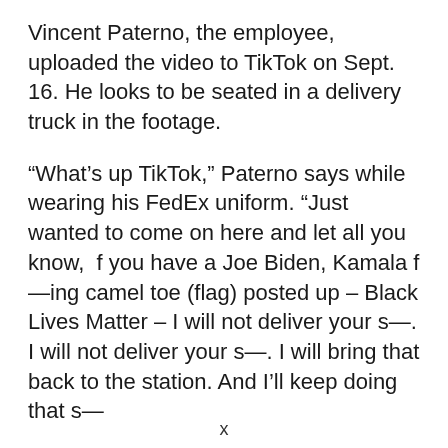Vincent Paterno, the employee, uploaded the video to TikTok on Sept. 16. He looks to be seated in a delivery truck in the footage.
“What’s up TikTok,” Paterno says while wearing his FedEx uniform. “Just wanted to come on here and let all you know,  f you have a Joe Biden, Kamala f—ing camel toe (flag) posted up – Black Lives Matter – I will not deliver your s—. I will not deliver your s—. I will bring that back to the station. And I’ll keep doing that s—
x